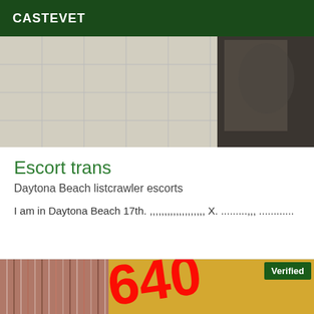CASTEVET
[Figure (photo): Top portion of a bathroom photo showing tiled walls and a mirror reflection]
Escort trans
Daytona Beach listcrawler escorts
I am in Daytona Beach 17th. ,,,,,,,,,,,,,,,,,,, X. .........,,, ............
[Figure (photo): Photo of a person in a striped outfit against a yellow wall with red numbers overlaid and a Verified badge in the top right corner]